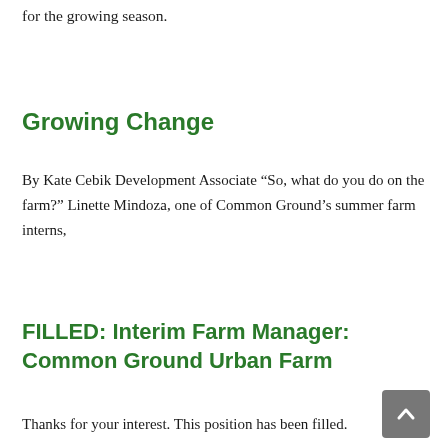for the growing season.
Growing Change
By Kate Cebik Development Associate “So, what do you do on the farm?” Linette Mindoza, one of Common Ground’s summer farm interns,
FILLED: Interim Farm Manager: Common Ground Urban Farm
Thanks for your interest. This position has been filled.